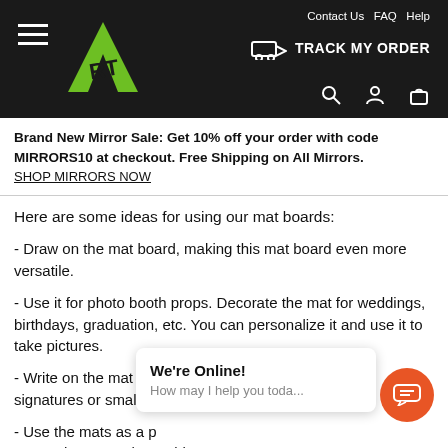Contact Us  FAQ  Help  TRACK MY ORDER
Brand New Mirror Sale: Get 10% off your order with code MIRRORS10 at checkout. Free Shipping on All Mirrors. SHOP MIRRORS NOW
Here are some ideas for using our mat boards:
- Draw on the mat board, making this mat board even more versatile.
- Use it for photo booth props. Decorate the mat for weddings, birthdays, graduation, etc. You can personalize it and use it to take pictures.
- Write on the mat for events or in the home. Use it for signatures or small notes, you decide.
- Use the mats as a p... e honoree, then add so... the you have it, a poster!
We're Online! How may I help you toda...